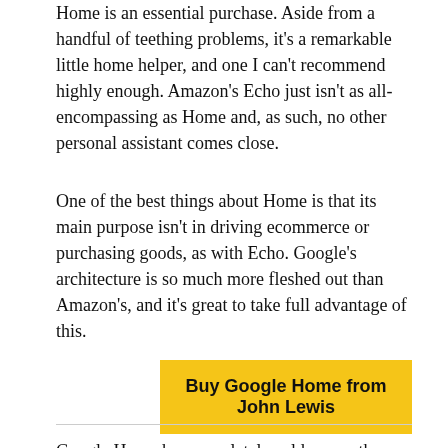Home is an essential purchase. Aside from a handful of teething problems, it's a remarkable little home helper, and one I can't recommend highly enough. Amazon's Echo just isn't as all-encompassing as Home and, as such, no other personal assistant comes close.
One of the best things about Home is that its main purpose isn't in driving ecommerce or purchasing goods, as with Echo. Google's architecture is so much more fleshed out than Amazon's, and it's great to take full advantage of this.
Buy Google Home from John Lewis
Google Home has completely sold me on the idea of having a little digital butler in my home. I was initially put off by Echo – its underlying purpose never really